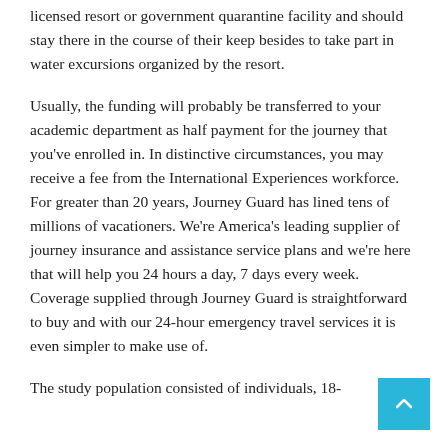licensed resort or government quarantine facility and should stay there in the course of their keep besides to take part in water excursions organized by the resort.
Usually, the funding will probably be transferred to your academic department as half payment for the journey that you've enrolled in. In distinctive circumstances, you may receive a fee from the International Experiences workforce. For greater than 20 years, Journey Guard has lined tens of millions of vacationers. We're America's leading supplier of journey insurance and assistance service plans and we're here that will help you 24 hours a day, 7 days every week. Coverage supplied through Journey Guard is straightforward to buy and with our 24-hour emergency travel services it is even simpler to make use of.
The study population consisted of individuals, 18-